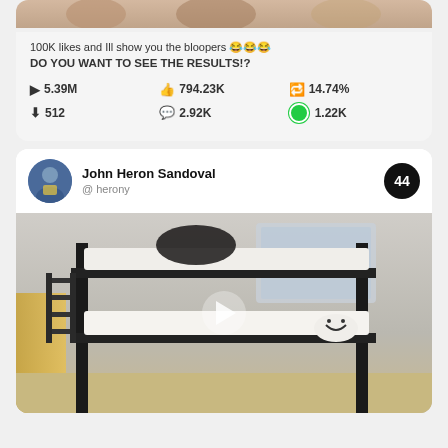[Figure (screenshot): Partial image at top of first card showing person/background]
100K likes and Ill show you the bloopers 😂😂😂 DO YOU WANT TO SEE THE RESULTS!?
▶ 5.39M  👍 794.23K  🔄 14.74%  ⬇ 512  💬 2.92K  🟢 1.22K
John Heron Sandoval @ herony  44
[Figure (screenshot): Video thumbnail showing a bunk bed in a room with a person, with a play button overlay]